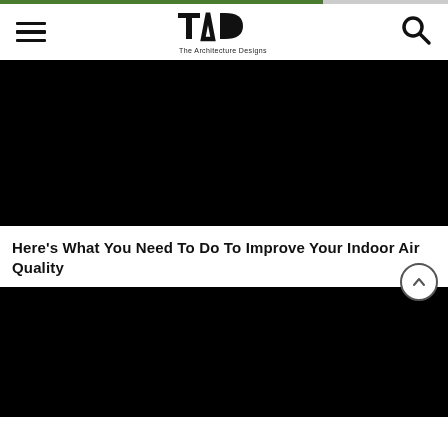[Figure (other): Green progress bar at top of page, approximately 72% filled]
TAD — The Architecture Designs (navigation header with hamburger menu, TAD logo, and search icon)
[Figure (photo): Large black/dark image placeholder (main article hero image)]
Here's What You Need To Do To Improve Your Indoor Air Quality
[Figure (photo): Second black/dark image placeholder (article secondary image) with scroll-to-top button overlay]